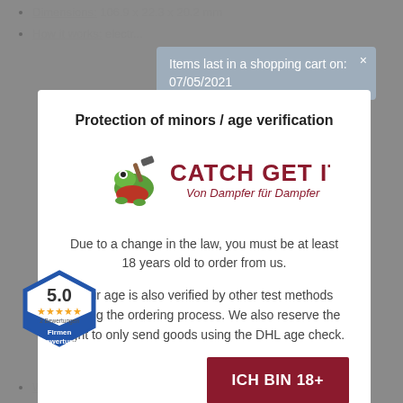Dimensions: 106.9 x 22.3 x 20.2 mm
How it works: electr...
Items last in a shopping cart on: 07/05/2021
Protection of minors / age verification
[Figure (logo): Catch Get It logo - Von Dampfer für Dampfer]
Due to a change in the law, you must be at least 18 years old to order from us.
Your age is also verified by other test methods during the ordering process. We also reserve the right to only send goods using the DHL age check.
[Figure (infographic): Rating badge showing 5.0 stars, 2 Bewertungen, Firmen Bewertung]
ICH BIN 18+
Weight: 50g